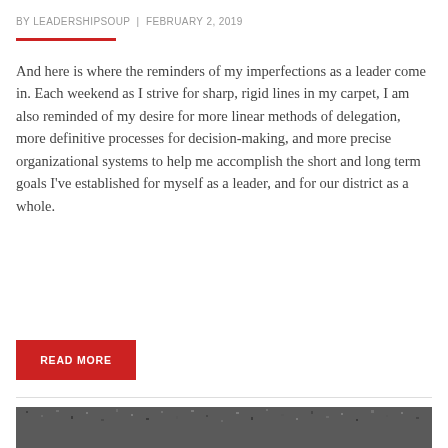BY LEADERSHIPSOUP  |  FEBRUARY 2, 2019
And here is where the reminders of my imperfections as a leader come in. Each weekend as I strive for sharp, rigid lines in my carpet, I am also reminded of my desire for more linear methods of delegation, more definitive processes for decision-making, and more precise organizational systems to help me accomplish the short and long term goals I’ve established for myself as a leader, and for our district as a whole.
READ MORE
[Figure (photo): Close-up photo of dark gray carpet texture, filling the bottom portion of the page]